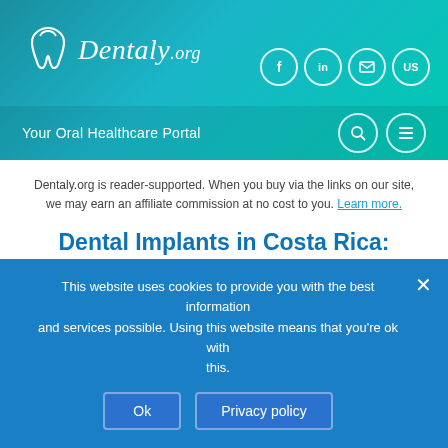[Figure (logo): Dentaly.org logo with tooth icon and social media icons (Facebook, LinkedIn, email, US) on teal/turquoise gradient header]
Your Oral Healthcare Portal
Dentaly.org is reader-supported. When you buy via the links on our site, we may earn an affiliate commission at no cost to you. Learn more.
Dental Implants in Costa Rica: Patient Reviews, Costs and Quality
Contributors:  Amanda Napitu
Published: 9 March 2019
This website uses cookies to provide you with the best information and services possible. Using this website means that you're ok with this.